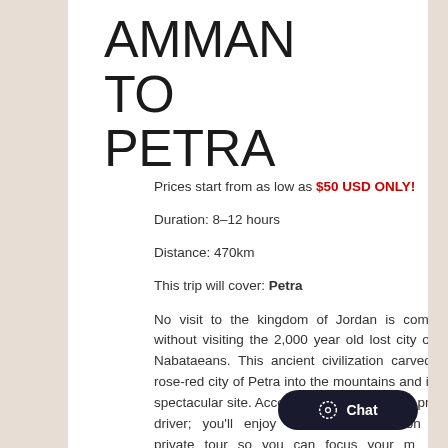AMMAN TO PETRA
Prices start from as low as $50 USD ONLY!
Duration: 8–12 hours
Distance: 470km
This trip will cover: Petra
No visit to the kingdom of Jordan is complete without visiting the 2,000 year old lost city of the Nabataeans. This ancient civilization carved the rose-red city of Petra into the mountains and it is a spectacular site. Accompanied by your own private driver; you'll enjoy tailored attention on your private tour so you can focus your mind on exploring this unforgettable city.